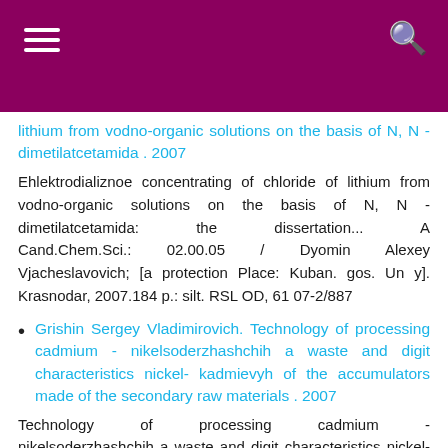lithium from vodno-organic solutions on the basis of N, N - dimetilatcetamida . 2007
Ehlektrodializnoe concentrating of chloride of lithium from vodno-organic solutions on the basis of N, N - dimetilatcetamida: the dissertation... A Cand.Chem.Sci.: 02.00.05 / Dyomin Alexey Vjacheslavovich; [a protection Place: Kuban. gos. Un y]. Krasnodar, 2007.184 p.: silt. RSL OD, 61 07-2/887
Grishin Sergey Vladimirovich. Technology of processing cadmium - nikelsoderzhashchih a waste and digit characteristics nickel-kadmievyh of the accumulators made of the secondary raw materials . 2007
Technology of processing cadmium - nikelsoderzhashchih a waste and digit characteristics nickel-kadmievyh of the accumulators made of the